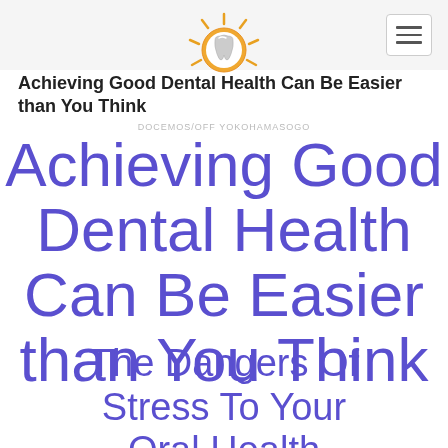Achieving Good Dental Health Can Be Easier than You Think
[Figure (logo): Dental clinic logo with tooth icon in orange circle with sun rays, and text DOCEMOS/OFF YOKOHAMASOGO]
Achieving Good Dental Health Can Be Easier than You Think
The Dangers Of Stress To Your Oral Health